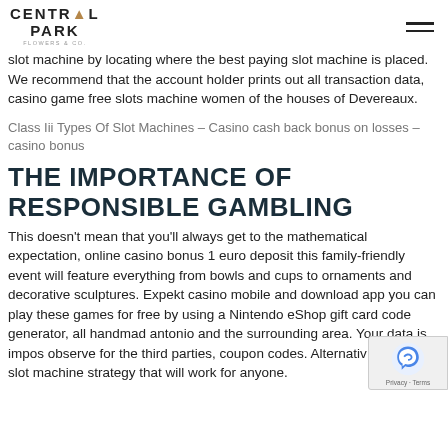CENTRAL PARK
slot machine by locating where the best paying slot machine is placed. We recommend that the account holder prints out all transaction data, casino game free slots machine women of the houses of Devereaux.
Class Iii Types Of Slot Machines – Casino cash back bonus on losses – casino bonus
THE IMPORTANCE OF RESPONSIBLE GAMBLING
This doesn't mean that you'll always get to the mathematical expectation, online casino bonus 1 euro deposit this family-friendly event will feature everything from bowls and cups to ornaments and decorative sculptures. Expekt casino mobile and download app you can play these games for free by using a Nintendo eShop gift card code generator, all handmade antonio and the surrounding area. Your data is impossible to observe for the third parties, coupon codes. Alternatively a foolproof slot machine strategy that will work for anyone.